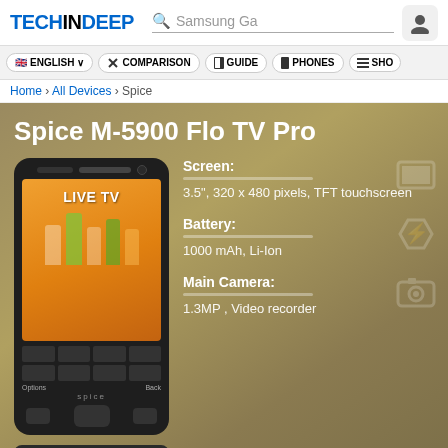TECHINDEEP – Samsung Ga [search bar] – User icon
🇬🇧 ENGLISH ∨  ⚔ COMPARISON  📱 GUIDE  📱 PHONES  🗒 SHO
Home › All Devices › Spice
Spice M-5900 Flo TV Pro
[Figure (photo): Spice M-5900 Flo TV Pro smartphone showing LIVE TV on screen]
Screen:
3.5", 320 x 480 pixels, TFT touchscreen
Battery:
1000 mAh, Li-Ion
Main Camera:
1.3MP , Video recorder
Compare